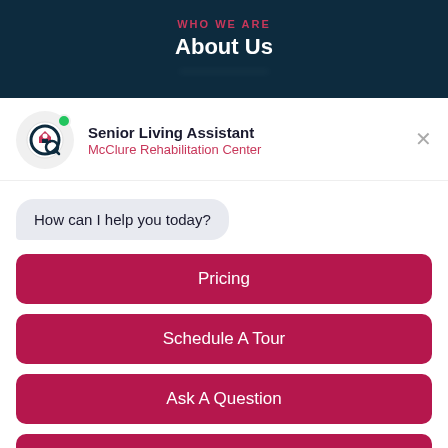WHO WE ARE
About Us
Senior Living Assistant
McClure Rehabilitation Center
How can I help you today?
Pricing
Schedule A Tour
Ask A Question
Show More